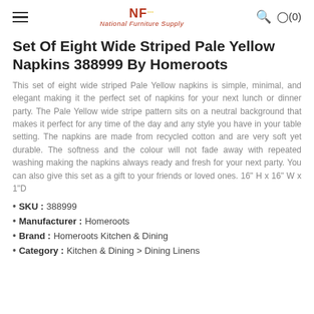National Furniture Supply
Set Of Eight Wide Striped Pale Yellow Napkins 388999 By Homeroots
This set of eight wide striped Pale Yellow napkins is simple, minimal, and elegant making it the perfect set of napkins for your next lunch or dinner party. The Pale Yellow wide stripe pattern sits on a neutral background that makes it perfect for any time of the day and any style you have in your table setting. The napkins are made from recycled cotton and are very soft yet durable. The softness and the colour will not fade away with repeated washing making the napkins always ready and fresh for your next party. You can also give this set as a gift to your friends or loved ones. 16" H x 16" W x 1"D
SKU : 388999
Manufacturer : Homeroots
Brand : Homeroots Kitchen & Dining
Category : Kitchen & Dining > Dining Linens